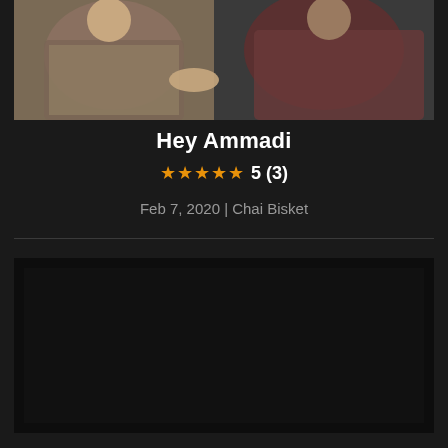[Figure (photo): Thumbnail image showing two people sitting and talking, one wearing a colorful saree and the other in a dark red/maroon top, sitting on dark chairs against a light background]
Hey Ammadi
★★★★★ 5 (3)
Feb 7, 2020 | Chai Bisket
[Figure (screenshot): Dark video player thumbnail area, nearly black]